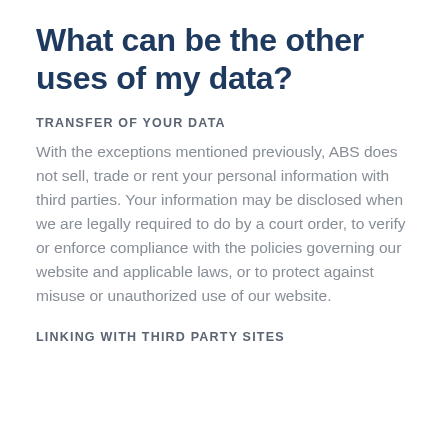What can be the other uses of my data?
TRANSFER OF YOUR DATA
With the exceptions mentioned previously, ABS does not sell, trade or rent your personal information with third parties. Your information may be disclosed when we are legally required to do by a court order, to verify or enforce compliance with the policies governing our website and applicable laws, or to protect against misuse or unauthorized use of our website.
LINKING WITH THIRD PARTY SITES